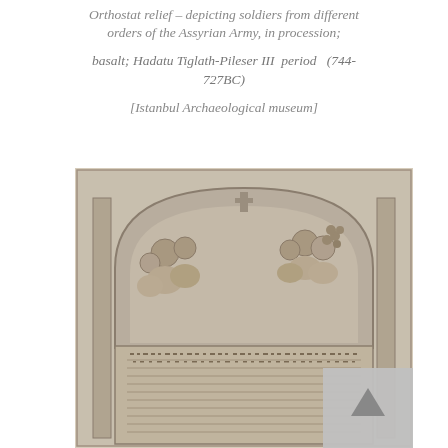Orthostat relief – depicting soldiers from different orders of the Assyrian Army, in procession; basalt; Hadatu Tiglath-Pileser III period (744-727BC) [Istanbul Archaeological museum]
[Figure (photo): Photograph of an ancient Assyrian basalt orthostat relief stele with an arched top, showing carved figures and cuneiform inscription text on the lower portion, displayed in the Istanbul Archaeological Museum.]